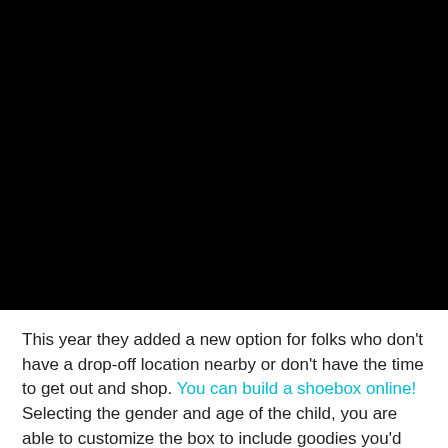[Figure (photo): Large black image occupying the upper portion of the page]
This year they added a new option for folks who don't have a drop-off location nearby or don't have the time to get out and shop. You can build a shoebox online! Selecting the gender and age of the child, you are able to customize the box to include goodies you'd like to fill the box with - that way you